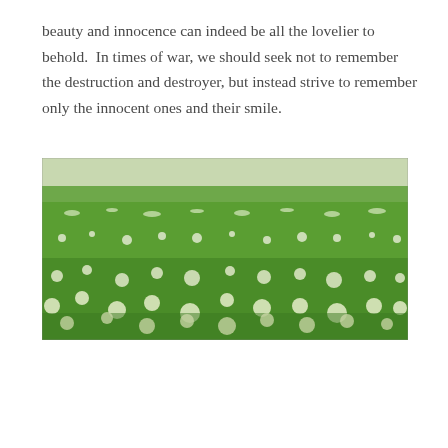beauty and innocence can indeed be all the lovelier to behold.  In times of war, we should seek not to remember the destruction and destroyer, but instead strive to remember only the innocent ones and their smile.
[Figure (photo): A wide field of green clover with small white flowers stretching to the horizon under a pale sky.]